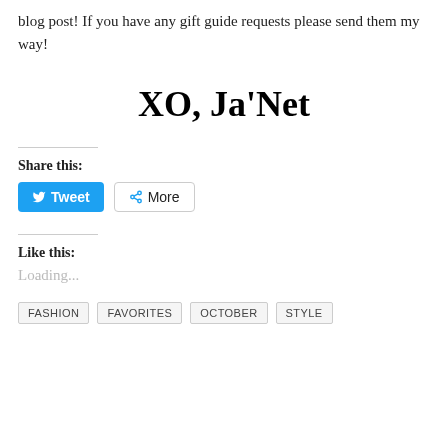blog post! If you have any gift guide requests please send them my way!
XO, Ja’Net
Share this:
[Figure (other): Tweet button (blue with Twitter bird icon) and More button with share icon]
Like this:
Loading...
FASHION
FAVORITES
OCTOBER
STYLE